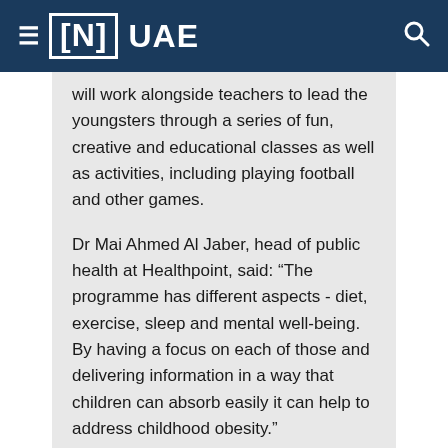≡ [N] UAE
will work alongside teachers to lead the youngsters through a series of fun, creative and educational classes as well as activities, including playing football and other games.
Dr Mai Ahmed Al Jaber, head of public health at Healthpoint, said: "The programme has different aspects - diet, exercise, sleep and mental well-being. By having a focus on each of those and delivering information in a way that children can absorb easily it can help to address childhood obesity."
EDUCATION
THE NATIONAL
OBESITY
UAE